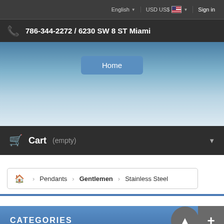English | USD US$ | Sign in
786-344-2272 / 6230 SW 8 ST Miami
[Figure (screenshot): Website navigation hero banner with sky/blue gradient background and Home button]
Cart (empty)
Pendants > Gentlemen > Stainless Steel
CATEGORIES
STAINLESS STEEL